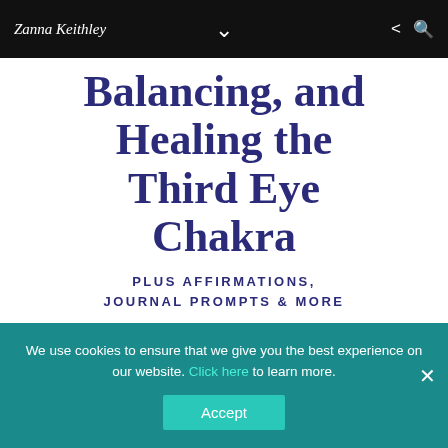Zanna Keithley
Balancing, and Healing the Third Eye Chakra
PLUS AFFIRMATIONS, JOURNAL PROMPTS & MORE
ZANNAKEITHLEY.COM
Pin this for later! Ajna: Activating, Balancing and Healing the Third Eye Chakra
We use cookies to ensure that we give you the best experience on our website. Click here to learn more.